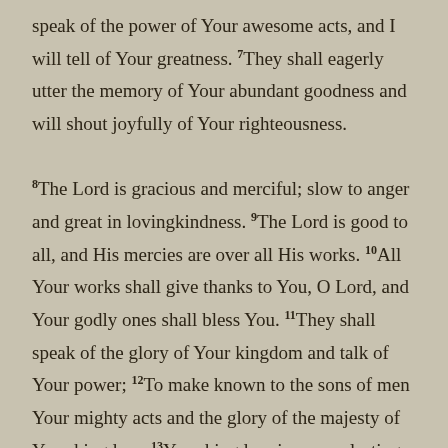speak of the power of Your awesome acts, and I will tell of Your greatness. 7They shall eagerly utter the memory of Your abundant goodness and will shout joyfully of Your righteousness.

8The Lord is gracious and merciful; slow to anger and great in lovingkindness. 9The Lord is good to all, and His mercies are over all His works. 10All Your works shall give thanks to You, O Lord, and Your godly ones shall bless You. 11They shall speak of the glory of Your kingdom and talk of Your power; 12To make known to the sons of men Your mighty acts and the glory of the majesty of Your kingdom. 13Your kingdom is an everlasting kingdom, and Your dominion endures